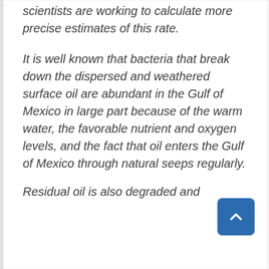scientists are working to calculate more precise estimates of this rate.
It is well known that bacteria that break down the dispersed and weathered surface oil are abundant in the Gulf of Mexico in large part because of the warm water, the favorable nutrient and oxygen levels, and the fact that oil enters the Gulf of Mexico through natural seeps regularly.
Residual oil is also degraded and